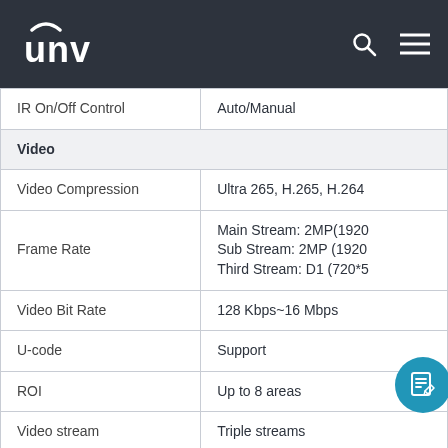UNV
| Feature | Value |
| --- | --- |
| IR On/Off Control | Auto/Manual |
| Video |  |
| Video Compression | Ultra 265, H.265, H.264 |
| Frame Rate | Main Stream: 2MP(1920...
Sub Stream: 2MP (1920...
Third Stream: D1 (720*5... |
| Video Bit Rate | 128 Kbps~16 Mbps |
| U-code | Support |
| ROI | Up to 8 areas |
| Video stream | Triple streams |